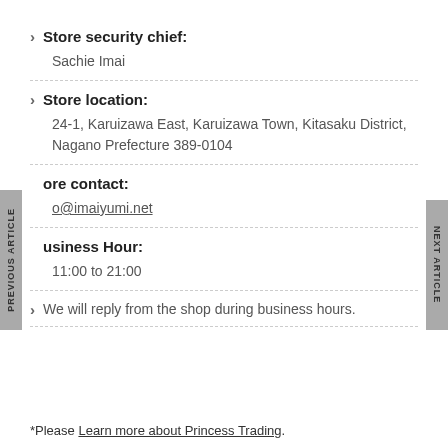Store security chief:
Sachie Imai
Store location:
24-1, Karuizawa East, Karuizawa Town, Kitasaku District, Nagano Prefecture 389-0104
Store contact:
o@imaiyumi.net
Business Hour:
11:00 to 21:00
We will reply from the shop during business hours.
*Please Learn more about Princess Trading.